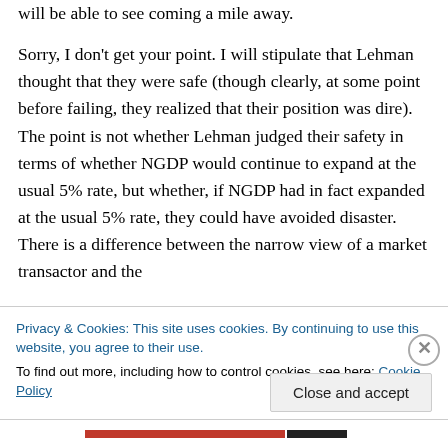will be able to see coming a mile away.

Sorry, I don't get your point. I will stipulate that Lehman thought that they were safe (though clearly, at some point before failing, they realized that their position was dire). The point is not whether Lehman judged their safety in terms of whether NGDP would continue to expand at the usual 5% rate, but whether, if NGDP had in fact expanded at the usual 5% rate, they could have avoided disaster. There is a difference between the narrow view of a market transactor and the
Privacy & Cookies: This site uses cookies. By continuing to use this website, you agree to their use.
To find out more, including how to control cookies, see here: Cookie Policy
Close and accept